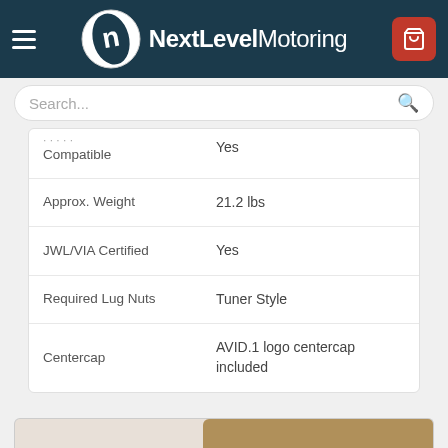NextLevel Motoring
| Attribute | Value |
| --- | --- |
| Compatible | Yes |
| Approx. Weight | 21.2 lbs |
| JWL/VIA Certified | Yes |
| Required Lug Nuts | Tuner Style |
| Centercap | AVID.1 logo centercap included |
[Figure (photo): Partial image visible at bottom of page, appears to be a person with dark curly hair]